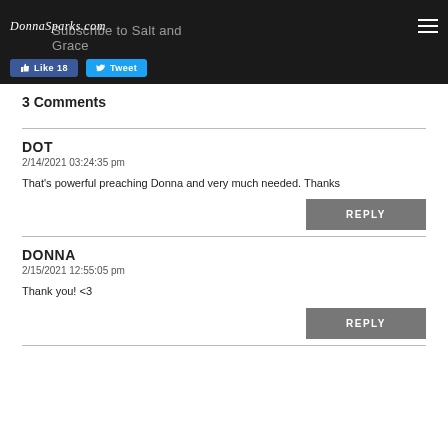DonnaSparks.com — Subscribe to Salt and Grace
3 Comments
DOT
2/14/2021 03:24:35 pm

That's powerful preaching Donna and very much needed. Thanks
DONNA
2/15/2021 12:55:05 pm

Thank you! <3